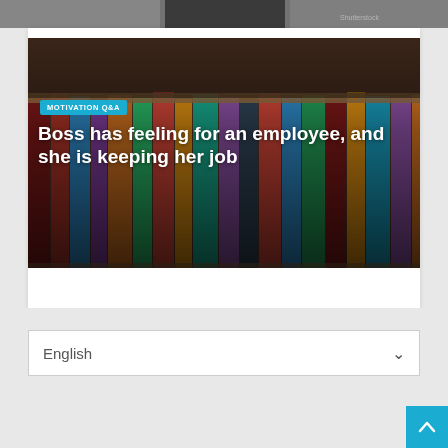[Figure (photo): Top strip showing partial image from previous content, dark/blurred]
[Figure (photo): Article card image: blurred colorful books/binders on a shelf, warm tones. Has a teal 'MOTIVATION Q&A' badge and large white bold title text overlaid.]
MOTIVATION Q&A
Boss has feeling for an employee, and she is keeping her job
English
[Figure (other): Scroll-to-top button: teal square with upward chevron arrow, bottom-right corner]